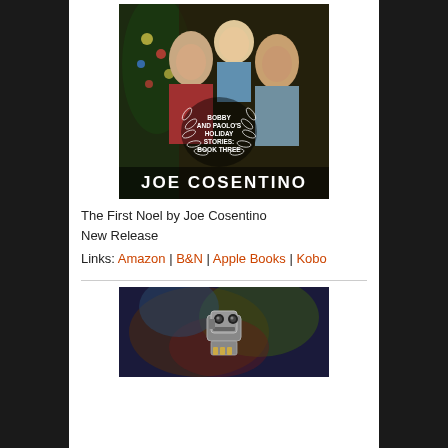[Figure (photo): Book cover for 'Bobby and Paolo's Holiday Stories: Book Three' by Joe Cosentino. Shows two adult men and a child in front of a Christmas tree, with a laurel wreath emblem and the author's name.]
The First Noel by Joe Cosentino
New Release
Links: Amazon | B&N | Apple Books | Kobo
[Figure (photo): Book cover showing a robot figure against a colorful starry/nebula background.]